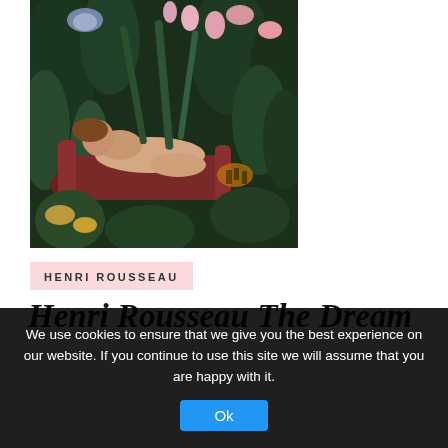[Figure (illustration): Henri Rousseau's 'The Dream' painting — a nude woman reclines on a red sofa in a lush jungle setting with tropical plants, flowers, and a tiger visible among the foliage.]
HENRI ROUSSEAU
Henri Rousseau The Dream
We use cookies to ensure that we give you the best experience on our website. If you continue to use this site we will assume that you are happy with it.